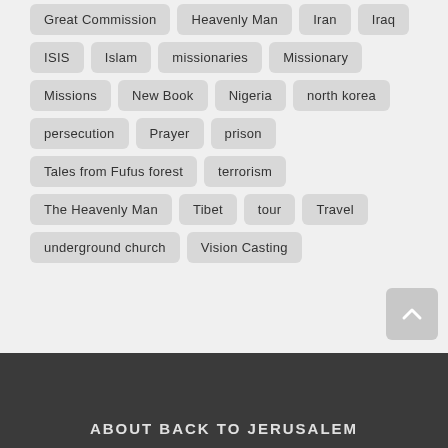Great Commission
Heavenly Man
Iran
Iraq
ISIS
Islam
missionaries
Missionary
Missions
New Book
Nigeria
north korea
persecution
Prayer
prison
Tales from Fufus forest
terrorism
The Heavenly Man
Tibet
tour
Travel
underground church
Vision Casting
ABOUT BACK TO JERUSALEM